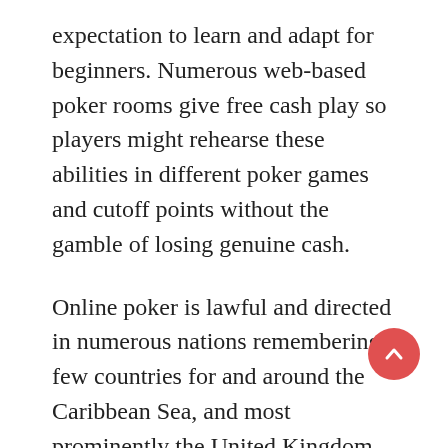expectation to learn and adapt for beginners. Numerous web-based poker rooms give free cash play so players might rehearse these abilities in different poker games and cutoff points without the gamble of losing genuine cash.
Online poker is lawful and directed in numerous nations remembering a few countries for and around the Caribbean Sea, and most prominently the United Kingdom.
Looking forward, the internet based poker market is growing its arrive at outside the PC. More organizations are providing...